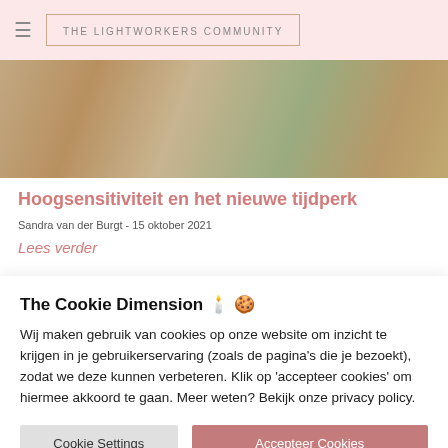THE LIGHTWORKERS COMMUNITY
[Figure (photo): Woman with red hair in a field of dried grass, wearing a pink outfit]
Hoogsensitiviteit en het nieuwe tijdperk
Sandra van der Burgt - 15 oktober 2021
Lees verder
The Cookie Dimension 🕯️🍪
Wij maken gebruik van cookies op onze website om inzicht te krijgen in je gebruikerservaring (zoals de pagina's die je bezoekt), zodat we deze kunnen verbeteren. Klik op 'accepteer cookies' om hiermee akkoord te gaan. Meer weten? Bekijk onze privacy policy.
Cookie Settings | Accepteer Cookies